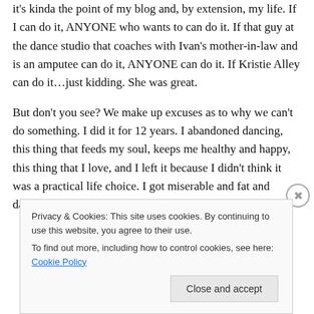it's kinda the point of my blog and, by extension, my life. If I can do it, ANYONE who wants to can do it. If that guy at the dance studio that coaches with Ivan's mother-in-law and is an amputee can do it, ANYONE can do it. If Kristie Alley can do it…just kidding. She was great.

But don't you see? We make up excuses as to why we can't do something. I did it for 12 years. I abandoned dancing, this thing that feeds my soul, keeps me healthy and happy, this thing that I love, and I left it because I didn't think it was a practical life choice. I got miserable and fat and damaged my health because I made up a
Privacy & Cookies: This site uses cookies. By continuing to use this website, you agree to their use.
To find out more, including how to control cookies, see here: Cookie Policy

Close and accept